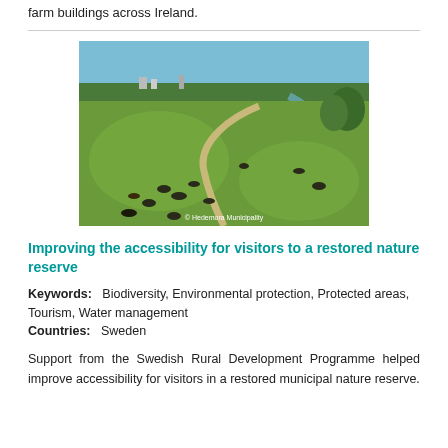farm buildings across Ireland.
[Figure (photo): Aerial view of a restored nature reserve with green fields, a winding path, grazing cattle, trees in the background, and a waterway. Credit: © Hedemora Municipality]
Improving the accessibility for visitors to a restored nature reserve
Keywords: Biodiversity, Environmental protection, Protected areas, Tourism, Water management
Countries: Sweden
Support from the Swedish Rural Development Programme helped improve accessibility for visitors in a restored municipal nature reserve.